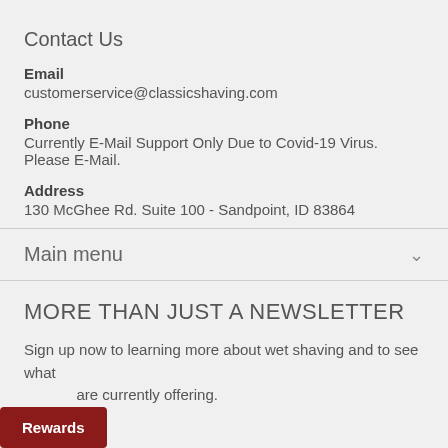Contact Us
Email
customerservice@classicshaving.com
Phone
Currently E-Mail Support Only Due to Covid-19 Virus. Please E-Mail.
Address
130 McGhee Rd. Suite 100 - Sandpoint, ID 83864
Main menu
MORE THAN JUST A NEWSLETTER
Sign up now to learning more about wet shaving and to see what we are currently offering.